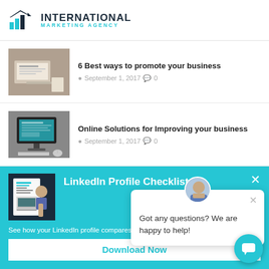[Figure (logo): International Marketing Agency logo with bar chart icon]
6 Best ways to promote your business
September 1, 2017  0
[Figure (photo): Person typing on laptop - thumbnail for article 1]
Online Solutions for Improving your business
September 1, 2017  0
[Figure (photo): Computer monitor with analytics - thumbnail for article 2]
LinkedIn Profile Checklist
[Figure (photo): LinkedIn Profile Checklist booklet with person on laptop]
See how your LinkedIn profile compares to the pros.
Download Now
Got any questions? We are happy to help!